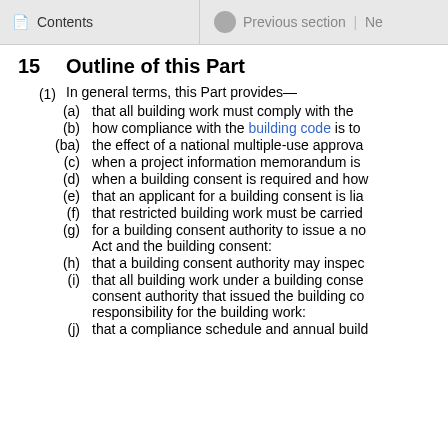Contents | Previous section | Ne
15   Outline of this Part
(1) In general terms, this Part provides—
(a) that all building work must comply with the
(b) how compliance with the building code is to
(ba) the effect of a national multiple-use approva
(c) when a project information memorandum is
(d) when a building consent is required and how
(e) that an applicant for a building consent is lia
(f) that restricted building work must be carried
(g) for a building consent authority to issue a no Act and the building consent:
(h) that a building consent authority may inspec
(i) that all building work under a building conse consent authority that issued the building co responsibility for the building work:
(j) that a compliance schedule and annual build